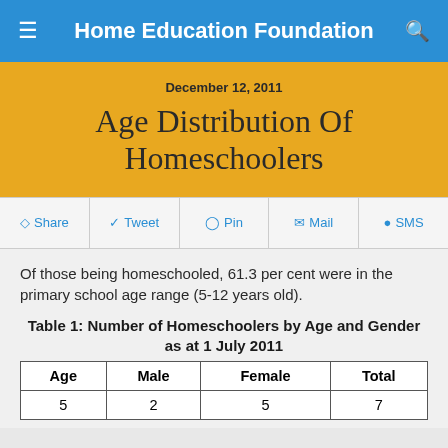Home Education Foundation
December 12, 2011
Age Distribution Of Homeschoolers
Share  Tweet  Pin  Mail  SMS
Of those being homeschooled, 61.3 per cent were in the primary school age range (5-12 years old).
Table 1: Number of Homeschoolers by Age and Gender as at 1 July 2011
| Age | Male | Female | Total |
| --- | --- | --- | --- |
| 5 | 2 | 5 | 7 |